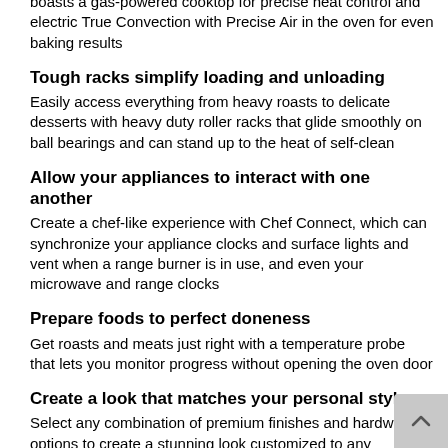boasts a gas-powered cooktop for precise heat control and electric True Convection with Precise Air in the oven for even baking results
Tough racks simplify loading and unloading
Easily access everything from heavy roasts to delicate desserts with heavy duty roller racks that glide smoothly on ball bearings and can stand up to the heat of self-clean
Allow your appliances to interact with one another
Create a chef-like experience with Chef Connect, which can synchronize your appliance clocks and surface lights and vent when a range burner is in use, and even your microwave and range clocks
Prepare foods to perfect doneness
Get roasts and meats just right with a temperature probe that lets you monitor progress without opening the oven door
Create a look that matches your personal style
Select any combination of premium finishes and hardware options to create a stunning look customized to any